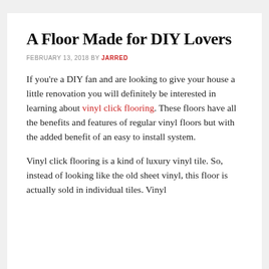A Floor Made for DIY Lovers
FEBRUARY 13, 2018 BY JARRED
If you're a DIY fan and are looking to give your house a little renovation you will definitely be interested in learning about vinyl click flooring. These floors have all the benefits and features of regular vinyl floors but with the added benefit of an easy to install system.
Vinyl click flooring is a kind of luxury vinyl tile. So, instead of looking like the old sheet vinyl, this floor is actually sold in individual tiles. Vinyl